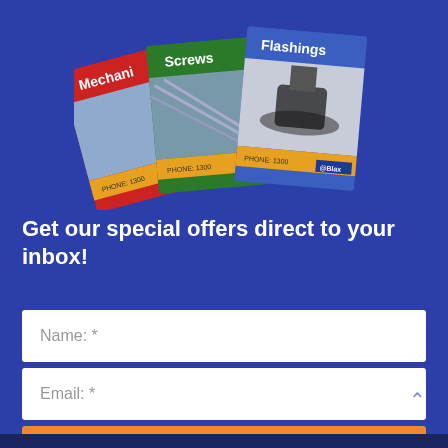[Figure (illustration): Three product catalog booklets fanned out: 'Mechanic...' with red cover, 'Screws' with green cover, and 'Flashings' with blue cover showing a pipe flashing image. Displayed on a dark blue background.]
Get our special offers direct to your inbox!
Name: *
Email: *
SUBMIT